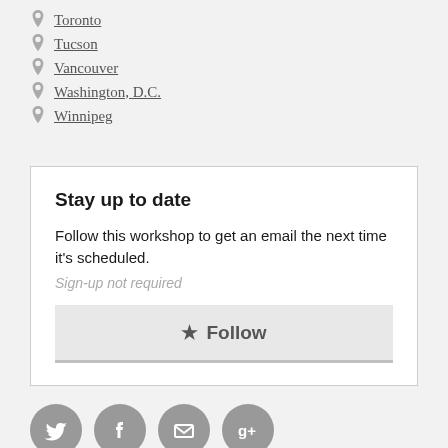Toronto
Tucson
Vancouver
Washington, D.C.
Winnipeg
Stay up to date
Follow this workshop to get an email the next time it's scheduled.
Sign-up not required
★ Follow
[Figure (other): Social media icon buttons: Twitter, Facebook, Email, Google+]